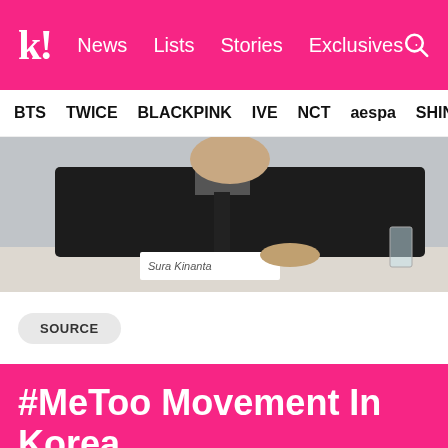k! News Lists Stories Exclusives
BTS TWICE BLACKPINK IVE NCT aespa SHINE
[Figure (photo): A person in a dark suit sitting at a table, partial view, with a name placard visible]
SOURCE
#MeToo Movement In Korea
“Weightlifting Fairy Kim Bok Joo” Actress Cho Hye Jung Returns To Acting For The First Time In 4 Y...